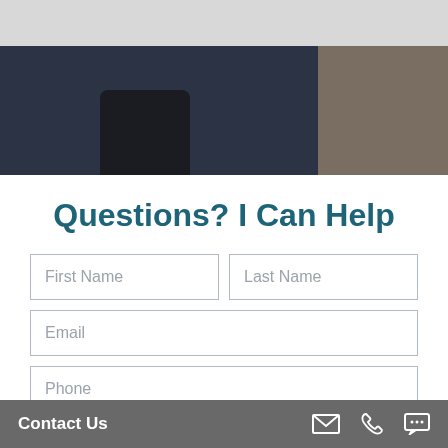[Figure (photo): Blurred photo showing a person in dark clothing, with a light gray banner at top and warm tan/beige tone at right side.]
Questions? I Can Help
First Name
Last Name
Email
Phone
Contact Us